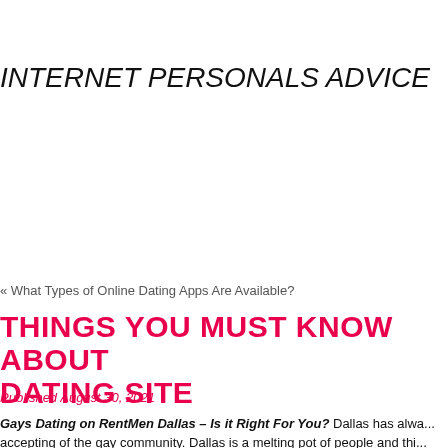INTERNET PERSONALS ADVICE
« What Types of Online Dating Apps Are Available?
THINGS YOU MUST KNOW ABOUT DATING SITE
Published August 30, 2021
Gays Dating on RentMen Dallas – Is it Right For You? Dallas has always been accepting of the gay community. Dallas is a melting pot of people and this...